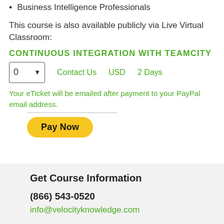Business Intelligence Professionals
This course is also available publicly via Live Virtual Classroom:
CONTINUOUS INTEGRATION WITH TEAMCITY
0   Contact Us   USD   2 Days
Your eTicket will be emailed after payment to your PayPal email address.
[Figure (other): Pay Now button (PayPal styled yellow rounded button)]
Get Course Information
(866) 543-0520
info@velocityknowledge.com